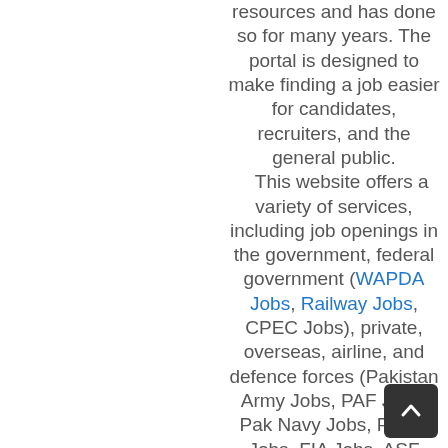resources and has done so for many years. The portal is designed to make finding a job easier for candidates, recruiters, and the general public. This website offers a variety of services, including job openings in the government, federal government (WAPDA Jobs, Railway Jobs, CPEC Jobs), private, overseas, airline, and defence forces (Pakistan Army Jobs, PAF Jobs, Pak Navy Jobs, Police Jobs, FIA Jobs, ASF Jobs), as well as scholarships, internships, and various testing services jobs (e.g. (PPSC, FPSC, NTS, PTS, OTS, UTS, CTS, CTSP). Last but not least, I assure